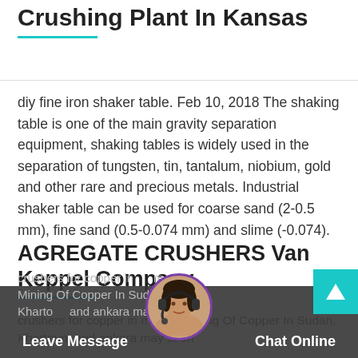Bartlett Constructing Soybean Crushing Plant In Kansas
diy fine iron shaker table. Feb 10, 2018 The shaking table is one of the main gravity separation equipment, shaking tables is widely used in the separation of tungsten, tin, tantalum, niobium, gold and other rare and precious metals. Industrial shaker table can be used for coarse sand (2-0.5 mm), fine sand (0.5-0.074 mm) and slime (-0.074).
AGREGATE CRUSHERS Van Keppel Company
crushers for copper in m. The Mining Of Copper In Sudan. Khartoum and ankara may soon
Leave Message   Chat Online